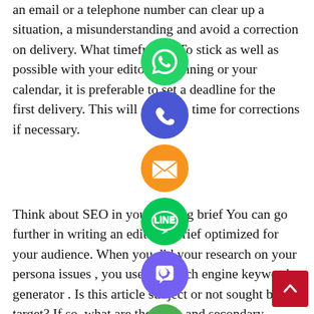Provide contact information. In case of doubt, an email or a telephone number can clear up a situation, a misunderstanding and avoid a correction on delivery. What timeframe? To stick as well as possible with your editorial planning or your calendar, it is preferable to set a deadline for the first delivery. This will give you time for corrections if necessary.
Think about SEO in your writing brief You can go further in writing an editorial brief optimized for your audience. When you did your research on your persona issues , you used a search engine keyword generator . Is this article subject or not sought by the target? If so, what are the main and secondary keywords used ? Ask your provider to include those key phrases as well as any long tail
[Figure (infographic): A vertical stack of social media / contact icons overlaid on the text: WhatsApp (green), phone/call (blue), email/envelope (orange), LINE (green), Viber (purple), and a green circle with X (close). A red scroll-to-top button in the bottom right corner.]